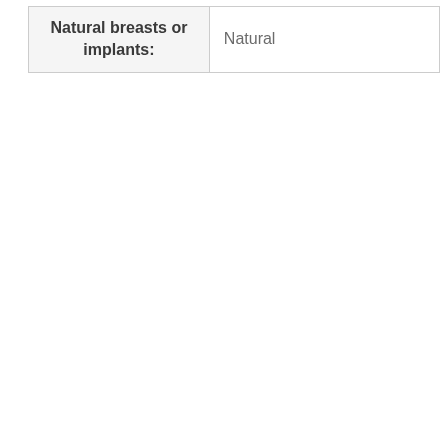| Natural breasts or implants: |  |
| --- | --- |
| Natural breasts or implants: | Natural |